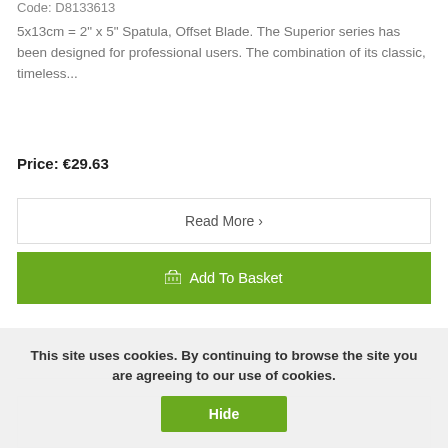Code: D8133613
5x13cm = 2" x 5" Spatula, Offset Blade. The Superior series has been designed for professional users. The combination of its classic, timeless...
Price: €29.63
Read More ›
Add To Basket
This site uses cookies. By continuing to browse the site you are agreeing to our use of cookies.
Hide